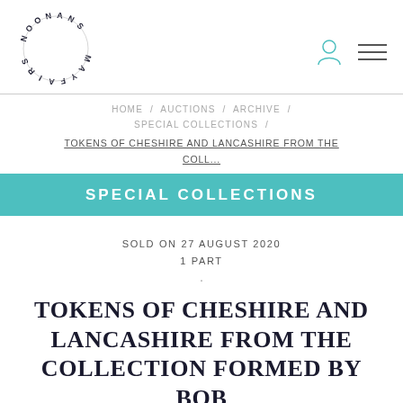[Figure (logo): Noonans Mayfair circular logo with text arranged in a circle]
HOME / AUCTIONS / ARCHIVE / SPECIAL COLLECTIONS /
TOKENS OF CHESHIRE AND LANCASHIRE FROM THE COLL...
SPECIAL COLLECTIONS
SOLD ON 27 AUGUST 2020
1 PART
TOKENS OF CHESHIRE AND LANCASHIRE FROM THE COLLECTION FORMED BY BOB LYALL